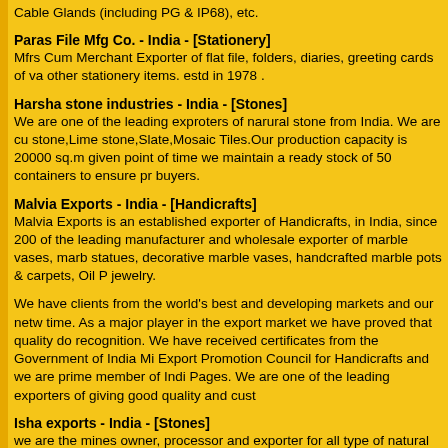Cable Glands (including PG & IP68), etc.
Paras File Mfg Co. - India - [Stationery]
Mfrs Cum Merchant Exporter of flat file, folders, diaries, greeting cards of va other stationery items. estd in 1978 .
Harsha stone industries - India - [Stones]
We are one of the leading exproters of narural stone from India. We are cu stone,Lime stone,Slate,Mosaic Tiles.Our production capacity is 20000 sq.m given point of time we maintain a ready stock of 50 containers to ensure pr buyers.
Malvia Exports - India - [Handicrafts]
Malvia Exports is an established exporter of Handicrafts, in India, since 200 of the leading manufacturer and wholesale exporter of marble vases, marb statues, decorative marble vases, handcrafted marble pots & carpets, Oil P jewelry.
We have clients from the world's best and developing markets and our netw time. As a major player in the export market we have proved that quality do recognition. We have received certificates from the Government of India Mi Export Promotion Council for Handicrafts and we are prime member of Indi Pages. We are one of the leading exporters of giving good quality and cust
Isha exports - India - [Stones]
we are the mines owner, processor and exporter for all type of natural build sandstone, limestone, slate, quartzite, marble, granite etc. in all forms and exporting slabs, tiles, pavers, ciricles, pebbels, kerbs, ledge tiles, steps, ris handcut, machine cut, polished, honed. calibrated, sandblasted, antique fin export to Canada, USA, Australia, New Zealand, Spain, Kuwait, Doha, Ma